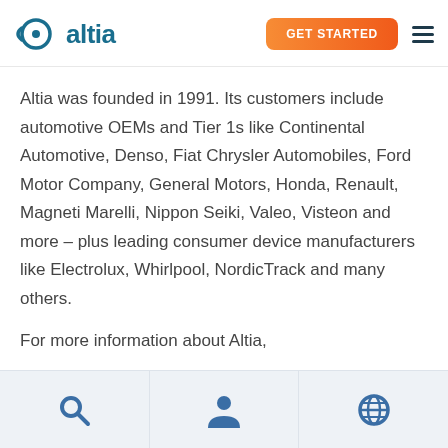[Figure (logo): Altia logo with fish-eye icon and teal wordmark 'altia']
Altia was founded in 1991. Its customers include automotive OEMs and Tier 1s like Continental Automotive, Denso, Fiat Chrysler Automobiles, Ford Motor Company, General Motors, Honda, Renault, Magneti Marelli, Nippon Seiki, Valeo, Visteon and more – plus leading consumer device manufacturers like Electrolux, Whirlpool, NordicTrack and many others.
For more information about Altia,